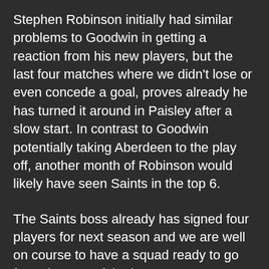Stephen Robinson initially had similar problems to Goodwin in getting a reaction from his new players, but the last four matches where we didn't lose or even concede a goal, proves already he has turned it around in Paisley after a slow start. In contrast to Goodwin potentially taking Aberdeen to the play off, another month of Robinson would likely have seen Saints in the top 6.
The Saints boss already has signed four players for next season and we are well on course to have a squad ready to go from day one of the league cup campaign. Although we have lost Jak Alnwick who was a great keeper for Saints, Trevor Carson will come in as a full international player who like